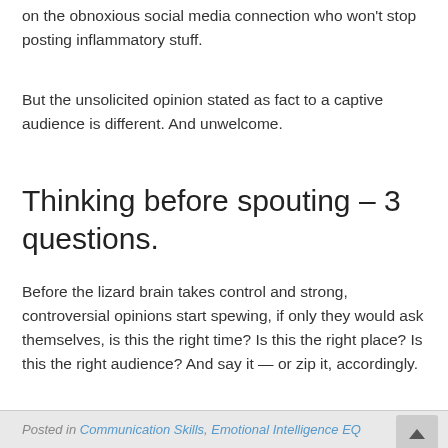on the obnoxious social media connection who won't stop posting inflammatory stuff.
But the unsolicited opinion stated as fact to a captive audience is different. And unwelcome.
Thinking before spouting – 3 questions.
Before the lizard brain takes control and strong, controversial opinions start spewing, if only they would ask themselves, is this the right time? Is this the right place? Is this the right audience? And say it — or zip it, accordingly.
Posted in Communication Skills, Emotional Intelligence EQ